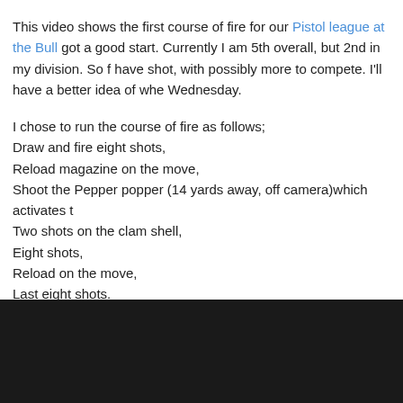This video shows the first course of fire for our Pistol league at the Bull got a good start. Currently I am 5th overall, but 2nd in my division. So f have shot, with possibly more to compete. I'll have a better idea of whe Wednesday.
I chose to run the course of fire as follows;
Draw and fire eight shots,
Reload magazine on the move,
Shoot the Pepper popper (14 yards away, off camera)which activates t
Two shots on the clam shell,
Eight shots,
Reload on the move,
Last eight shots.
All in 21 seconds. That is pretty good for me, but I've got a lot of work t fast.
[Figure (other): Embedded video player with black background]